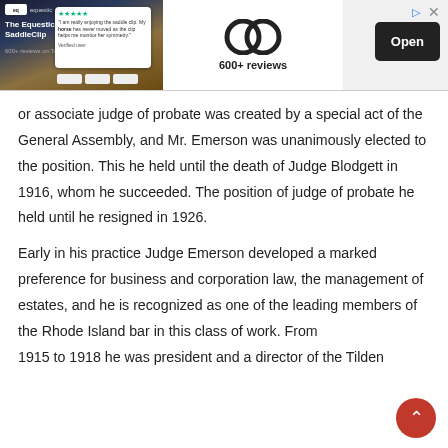[Figure (screenshot): Advertisement banner for 'The Equestic SaddleClip' app showing a horse photo, a review card with stars, the EQ logo, '600+ reviews' text, and an 'Open' button.]
or associate judge of probate was created by a special act of the General Assembly, and Mr. Emerson was unanimously elected to the position. This he held until the death of Judge Blodgett in 1916, whom he succeeded. The position of judge of probate he held until he resigned in 1926.
Early in his practice Judge Emerson developed a marked preference for business and corporation law, the management of estates, and he is recognized as one of the leading members of the Rhode Island bar in this class of work. From 1915 to 1918 he was president and a director of the Tilden